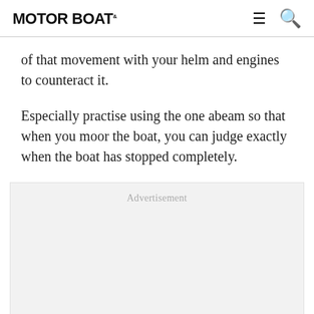MOTOR BOAT
of that movement with your helm and engines to counteract it.
Especially practise using the one abeam so that when you moor the boat, you can judge exactly when the boat has stopped completely.
[Figure (other): Advertisement placeholder box]